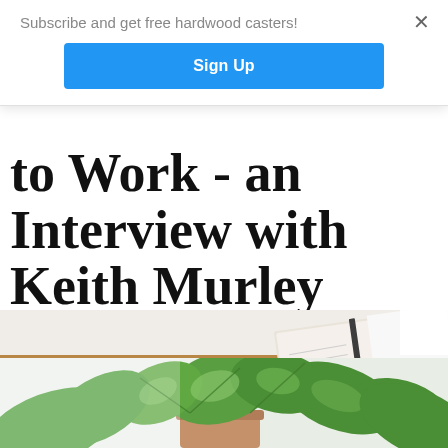Subscribe and get free hardwood casters!
Sign Up
×
to Work - an Interview with Keith Murley
[Figure (photo): A wooden desk surface with an open notebook/journal, blurred background, warm tones]
[Figure (photo): Close-up of a green pothos houseplant with variegated leaves in a pot]